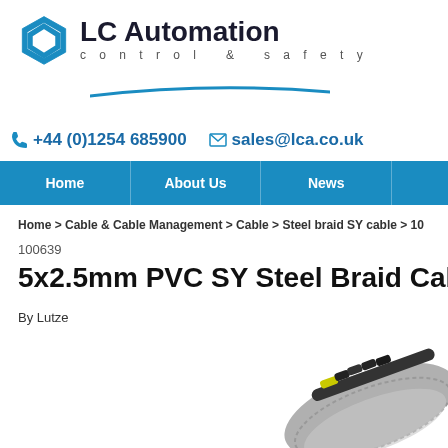[Figure (logo): LC Automation control & safety logo with blue hexagon icon, company name in dark bold text, tagline 'control & safety' in spaced gray letters, and a blue curved underline accent.]
+44 (0)1254 685900    sales@lca.co.uk
Home | About Us | News
Home > Cable & Cable Management > Cable > Steel braid SY cable > 10...
100639
5x2.5mm PVC SY Steel Braid Cable Per M...
By Lutze
[Figure (photo): Partial view of a steel braid SY cable showing multiple cores with yellow-green and dark insulation, with a braided/armoured outer sheath, positioned in lower-right corner of the page.]